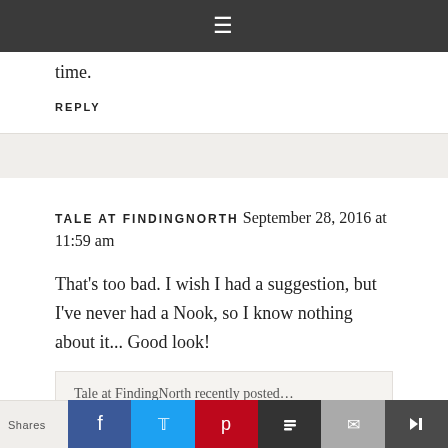≡
time.
REPLY
TALE AT FINDINGNORTH September 28, 2016 at 11:59 am
That's too bad. I wish I had a suggestion, but I've never had a Nook, so I know nothing about it... Good look!
Tale at FindingNorth recently posted… Announcing: The new FindingNorth Shop 🦅
Shares | Facebook | Twitter | Pinterest | Buffer | Email | Kindle